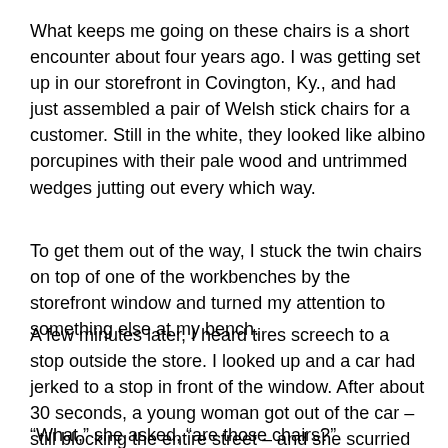What keeps me going on these chairs is a short encounter about four years ago. I was getting set up in our storefront in Covington, Ky., and had just assembled a pair of Welsh stick chairs for a customer. Still in the white, they looked like albino porcupines with their pale wood and untrimmed wedges jutting out every which way.
To get them out of the way, I stuck the twin chairs on top of one of the workbenches by the storefront window and turned my attention to something else at my bench.
A few minutes later, I heard tires screech to a stop outside the store. I looked up and a car had jerked to a stop in front of the window. After about 30 seconds, a young woman got out of the car – still blocking the entire street – and she scurried to the store's entrance. I thought she might have a medical emergency, and I met her at the door.
“What,” she asked, “are those chairs?”